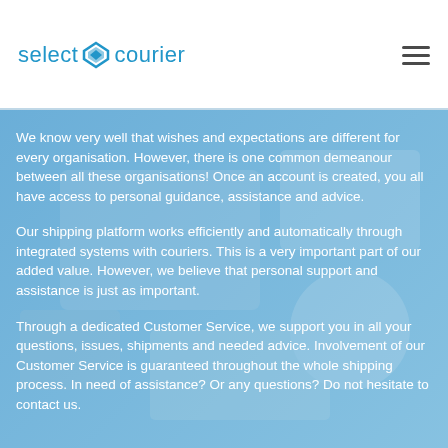[Figure (logo): Select Courier logo with blue arrow/diamond icon between 'select' and 'courier' text]
We know very well that wishes and expectations are different for every organisation. However, there is one common demeanour between all these organisations! Once an account is created, you all have access to personal guidance, assistance and advice.
Our shipping platform works efficiently and automatically through integrated systems with couriers. This is a very important part of our added value. However, we believe that personal support and assistance is just as important.
Through a dedicated Customer Service, we support you in all your questions, issues, shipments and needed advice. Involvement of our Customer Service is guaranteed throughout the whole shipping process. In need of assistance? Or any questions? Do not hesitate to contact us.